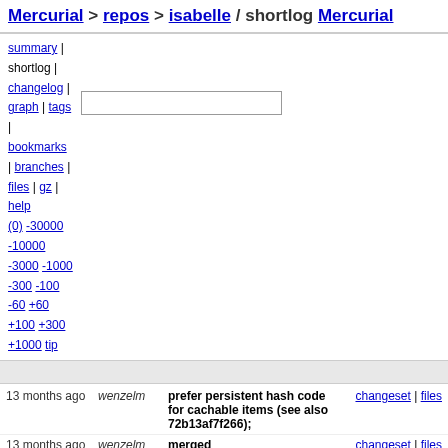Mercurial > repos > isabelle / shortlog Mercurial
summary | shortlog | changelog | graph | tags | bookmarks | branches | files | gz | help (0) -30000 -10000 -3000 -1000 -300 -100 -60 +60 +100 +300 +1000 tip
| age | author | description | links |
| --- | --- | --- | --- |
| 13 months ago | wenzelm | prefer persistent hash code for cachable items (see also 72b13af7f266); | changeset | files |
| 13 months ago | wenzelm | merged | changeset | files |
| 13 months ago | wenzelm | more operations: record overall exported entities; | changeset | files |
| 13 months ago | desharna | merged | changeset | files |
| 13 months ago | desharna | added dummy_fof prover to | changeset | files |